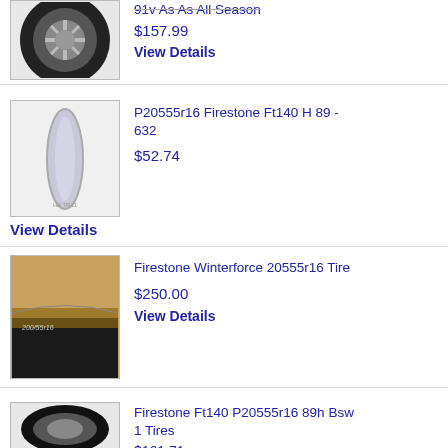91v As As All Season
$157.99
View Details
[Figure (photo): Tire photo - dark alloy wheel with tire, partial view]
P20555r16 Firestone Ft140 H 89 - 632
$52.74
View Details
[Figure (photo): Tire photo - light colored tire, narrow view]
[Figure (photo): Tire sidewall photo showing markings 200/55r16]
Firestone Winterforce 20555r16 Tire
$250.00
View Details
[Figure (photo): Tire photo - standard black tire on white background]
Firestone Ft140 P20555r16 89h Bsw 1 Tires
$161.71